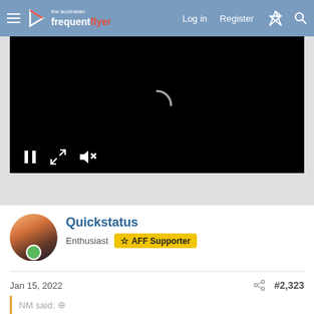the australian frequentflyer | Log in | Register
[Figure (screenshot): Embedded video player with black background, loading spinner, and playback controls (pause, expand, mute)]
Quickstatus
Enthusiast   ☆ AFF Supporter
Jan 15, 2022
#2,323
NM said: ⊕
might